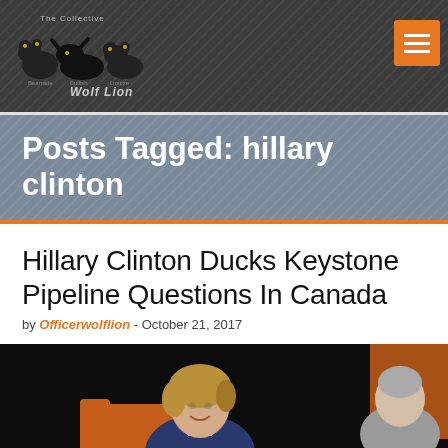Wolf Lion — The Collective
Posts Tagged: hillary clinton
Hillary Clinton Ducks Keystone Pipeline Questions In Canada
by Officerwolflion - October 21, 2017
[Figure (photo): Photo of Hillary Clinton seated in an orange chair at an event, smiling, with another person visible on the right side of the frame against a dark background.]